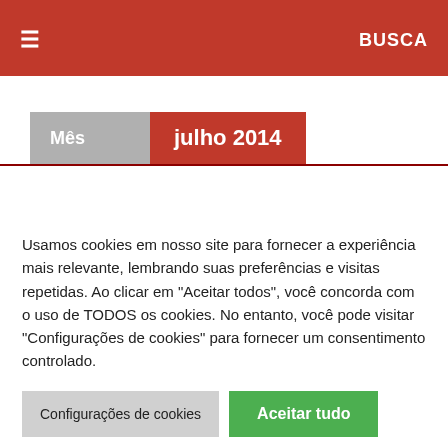≡   BUSCA
Mês   julho 2014
Usamos cookies em nosso site para fornecer a experiência mais relevante, lembrando suas preferências e visitas repetidas. Ao clicar em "Aceitar todos", você concorda com o uso de TODOS os cookies. No entanto, você pode visitar "Configurações de cookies" para fornecer um consentimento controlado.
Configurações de cookies   Aceitar tudo
Leia mais